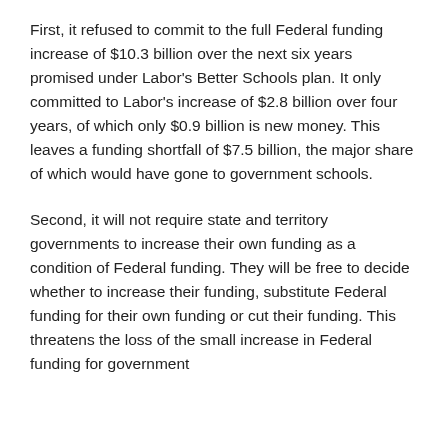First, it refused to commit to the full Federal funding increase of $10.3 billion over the next six years promised under Labor's Better Schools plan. It only committed to Labor's increase of $2.8 billion over four years, of which only $0.9 billion is new money. This leaves a funding shortfall of $7.5 billion, the major share of which would have gone to government schools.
Second, it will not require state and territory governments to increase their own funding as a condition of Federal funding. They will be free to decide whether to increase their funding, substitute Federal funding for their own funding or cut their funding. This threatens the loss of the small increase in Federal funding for government...